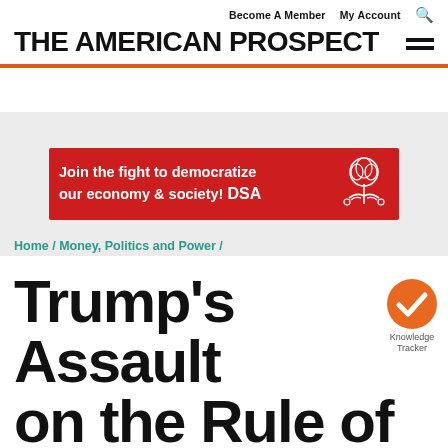THE AMERICAN PROSPECT | Become A Member | My Account
[Figure (infographic): DSA advertisement banner: red background with white text 'Join the fight to democratize our economy & society! DSA' with a rose/handshake logo graphic on right]
Home / Money, Politics and Power /
Trump's Assault on the Rule of Law